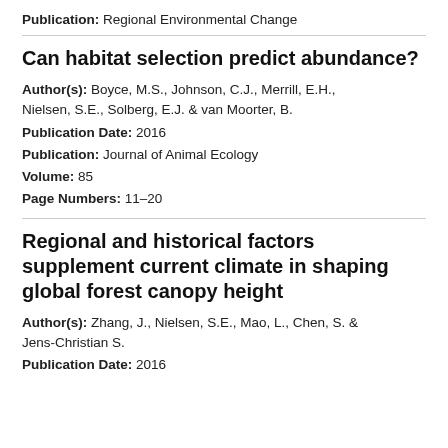Publication: Regional Environmental Change
Can habitat selection predict abundance?
Author(s): Boyce, M.S., Johnson, C.J., Merrill, E.H., Nielsen, S.E., Solberg, E.J. & van Moorter, B.
Publication Date: 2016
Publication: Journal of Animal Ecology
Volume: 85
Page Numbers: 11–20
Regional and historical factors supplement current climate in shaping global forest canopy height
Author(s): Zhang, J., Nielsen, S.E., Mao, L., Chen, S. & Jens-Christian S.
Publication Date: 2016